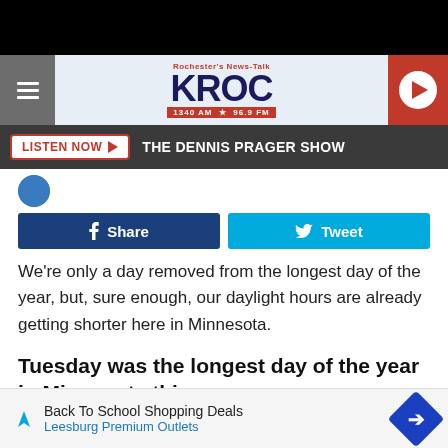[Figure (screenshot): KROC Rochester News-Talk radio website header with logo, hamburger menu, play button, Listen Now bar showing The Dennis Prager Show, social share buttons (Share/Tweet), article text, and ad banner.]
THE DENNIS PRAGER SHOW
Share
Tweet
We're only a day removed from the longest day of the year, but, sure enough, our daylight hours are already getting shorter here in Minnesota.
Tuesday was the longest day of the year in Minnesota this year
I've always called it the First Day of Summer, but technically, its acti
Back To School Shopping Deals
Leesburg Premium Outlets